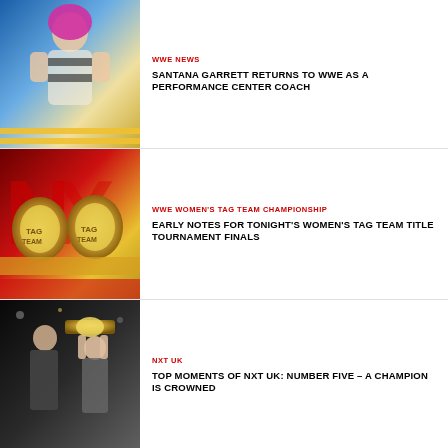[Figure (photo): WWE wrestler Santana Garrett posing in ring attire with pink hair]
WWE NEWS
SANTANA GARRETT RETURNS TO WWE AS A PERFORMANCE CENTER COACH
[Figure (photo): WWE Women's Tag Team Championship belts on red background]
WWE WOMEN'S TAG TEAM CHAMPIONSHIP
EARLY NOTES FOR TONIGHT'S WOMEN'S TAG TEAM TITLE TOURNAMENT FINALS
[Figure (photo): NXT UK championship celebration with wrestlers holding belt]
NXT UK
TOP MOMENTS OF NXT UK: NUMBER FIVE – A CHAMPION IS CROWNED